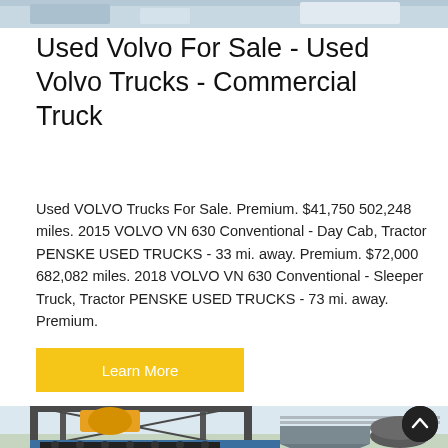[Figure (photo): Top portion of a photo showing industrial equipment or trucks, partially cropped at the top of the page.]
Used Volvo For Sale - Used Volvo Trucks - Commercial Truck
Used VOLVO Trucks For Sale. Premium. $41,750 502,248 miles. 2015 VOLVO VN 630 Conventional - Day Cab, Tractor PENSKE USED TRUCKS - 33 mi. away. Premium. $72,000 682,082 miles. 2018 VOLVO VN 630 Conventional - Sleeper Truck, Tractor PENSKE USED TRUCKS - 73 mi. away. Premium.
[Figure (other): Learn More button — yellow/gold rectangular button with white text.]
[Figure (photo): Bottom photo showing industrial concrete batching or mixing plant equipment with steel frame structures, blue base beams, yellow components, and a cylindrical drum on the right side.]